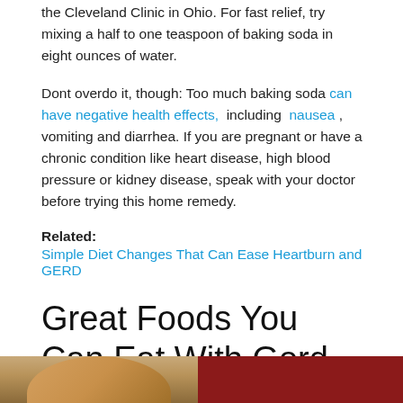the Cleveland Clinic in Ohio. For fast relief, try mixing a half to one teaspoon of baking soda in eight ounces of water.
Dont overdo it, though: Too much baking soda can have negative health effects, including nausea , vomiting and diarrhea. If you are pregnant or have a chronic condition like heart disease, high blood pressure or kidney disease, speak with your doctor before trying this home remedy.
Related:
Simple Diet Changes That Can Ease Heartburn and GERD
Great Foods You Can Eat With Gerd
[Figure (photo): Partial image of a person and a red background at the bottom of the page]